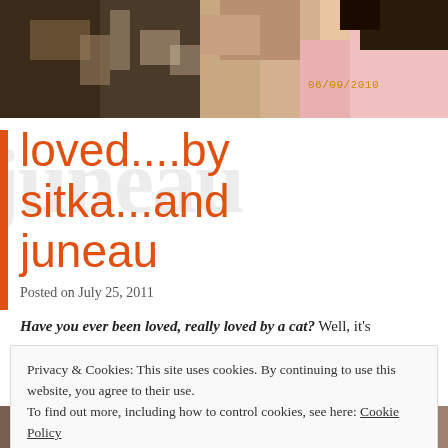[Figure (photo): A photograph showing a person working at a desk/workspace with objects on a table. A timestamp '06/09/2010' appears in the upper right of the photo.]
loved....by sitka...and juneau
Posted on July 25, 2011
Have you ever been loved, really loved by a cat? Well, it's
Privacy & Cookies: This site uses cookies. By continuing to use this website, you agree to their use.
To find out more, including how to control cookies, see here: Cookie Policy
[Figure (photo): Partial photo visible at the bottom of the page, along with the word 'name' partially visible at the bottom right.]